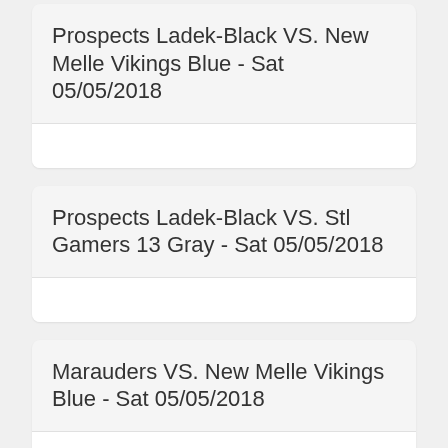Prospects Ladek-Black VS. New Melle Vikings Blue - Sat 05/05/2018
Prospects Ladek-Black VS. Stl Gamers 13 Gray - Sat 05/05/2018
Marauders VS. New Melle Vikings Blue - Sat 05/05/2018